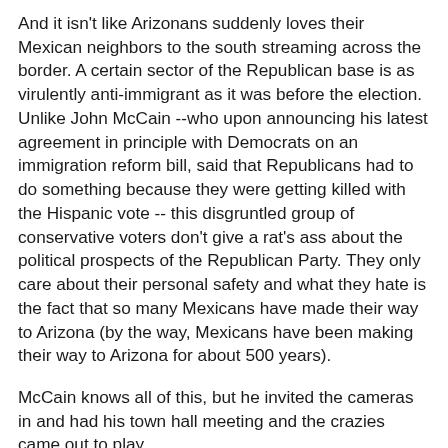And it isn't like Arizonans suddenly loves their Mexican neighbors to the south streaming across the border. A certain sector of the Republican base is as virulently anti-immigrant as it was before the election. Unlike John McCain --who upon announcing his latest agreement in principle with Democrats on an immigration reform bill, said that Republicans had to do something because they were getting killed with the Hispanic vote -- this disgruntled group of conservative voters don't give a rat's ass about the political prospects of the Republican Party. They only care about their personal safety and what they hate is the fact that so many Mexicans have made their way to Arizona (by the way, Mexicans have been making their way to Arizona for about 500 years).
McCain knows all of this, but he invited the cameras in and had his town hall meeting and the crazies came out to play.